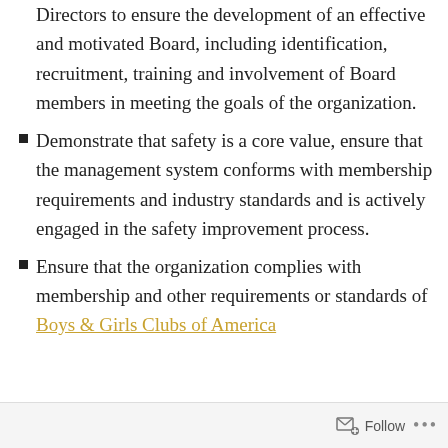Directors to ensure the development of an effective and motivated Board, including identification, recruitment, training and involvement of Board members in meeting the goals of the organization.
Demonstrate that safety is a core value, ensure that the management system conforms with membership requirements and industry standards and is actively engaged in the safety improvement process.
Ensure that the organization complies with membership and other requirements or standards of Boys & Girls Clubs of America
Follow